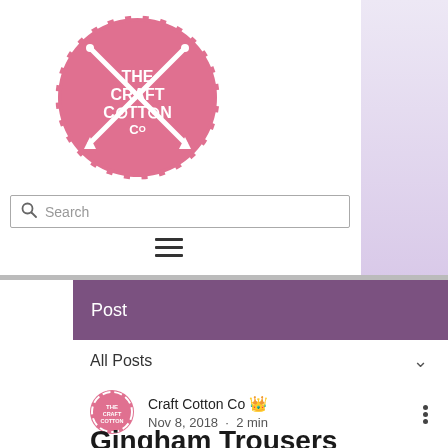[Figure (logo): The Craft Cotton Co circular pink logo with crossed needles/pins and scalloped edge]
Search
[Figure (other): Hamburger menu icon with three horizontal lines]
Post
All Posts
Craft Cotton Co  Nov 8, 2018  ·  2 min
Gingham Trousers